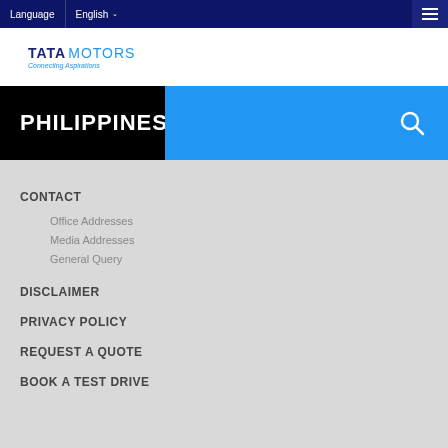Language | English ☰
[Figure (logo): Tata Motors logo with 'Connecting Aspirations' tagline]
PHILIPPINES
CONTACT
Office Addresses
Media Addresses
General Query
DISCLAIMER
PRIVACY POLICY
REQUEST A QUOTE
BOOK A TEST DRIVE